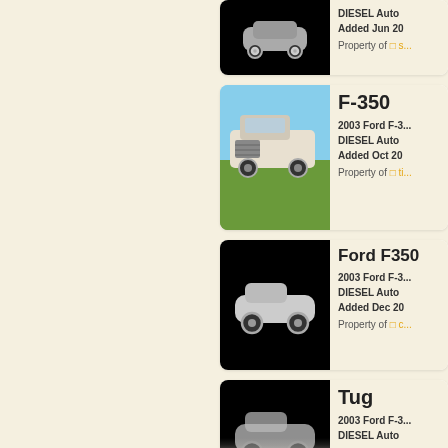[Figure (screenshot): Vehicle listing card (partial, top): black background with car icon, DIESEL Auto, Added Jun 20, Property of s...]
F-350
2003 Ford F-3...
DIESEL Auto
Added Oct 20
Property of ti...
Ford F350
2003 Ford F-3...
DIESEL Auto
Added Dec 20
Property of c...
Tug
2003 Ford F-3...
DIESEL Auto
Added Mar 20
Property of s...